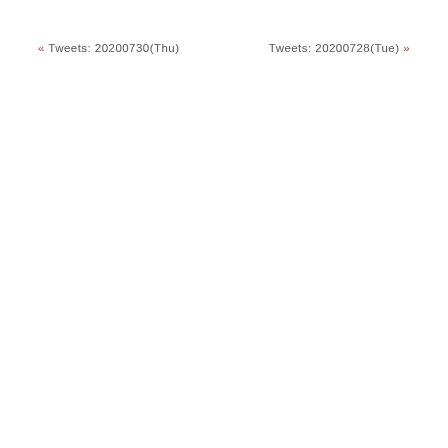« Tweets: 20200730(Thu)
Tweets: 20200728(Tue) »